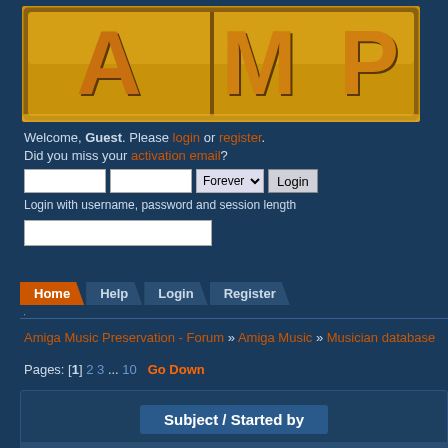[Figure (logo): AMP logo with large golden letters A, M, P on a dark gold/brown background with border]
Welcome, Guest. Please login or register. Did you miss your activation email?
Login with username, password and session length
Home  Help  Login  Register
Amiga Music Preservation - Forum » Amiga Music » Musician database
Pages: [1] 2 3 ... 10  Go Down
| Subject / Started by |
| --- |